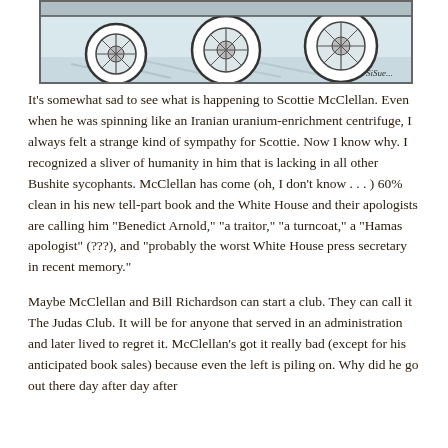[Figure (illustration): A comic strip panel showing wheels/tires of vehicles on a road, with an artist signature 'SiSue' or similar in the bottom right corner. Black and white ink illustration with light blue-grey tones.]
It's somewhat sad to see what is happening to Scottie McClellan. Even when he was spinning like an Iranian uranium-enrichment centrifuge, I always felt a strange kind of sympathy for Scottie. Now I know why. I recognized a sliver of humanity in him that is lacking in all other Bushite sycophants. McClellan has come (oh, I don't know . . . ) 60% clean in his new tell-part book and the White House and their apologists are calling him "Benedict Arnold," "a traitor," "a turncoat," a "Hamas apologist" (???), and "probably the worst White House press secretary in recent memory."
Maybe McClellan and Bill Richardson can start a club. They can call it The Judas Club. It will be for anyone that served in an administration and later lived to regret it. McClellan's got it really bad (except for his anticipated book sales) because even the left is piling on. Why did he go out there day after day after